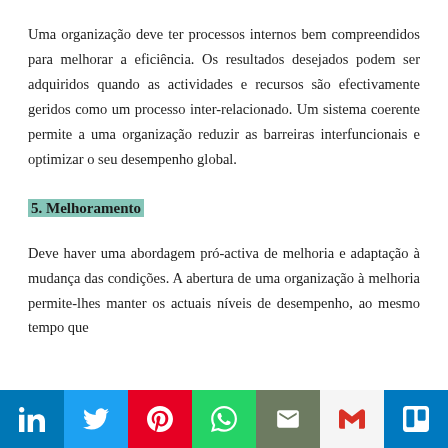Uma organização deve ter processos internos bem compreendidos para melhorar a eficiência. Os resultados desejados podem ser adquiridos quando as actividades e recursos são efectivamente geridos como um processo inter-relacionado. Um sistema coerente permite a uma organização reduzir as barreiras interfuncionais e optimizar o seu desempenho global.
5. Melhoramento
Deve haver uma abordagem pró-activa de melhoria e adaptação à mudança das condições. A abertura de uma organização à melhoria permite-lhes manter os actuais níveis de desempenho, ao mesmo tempo que